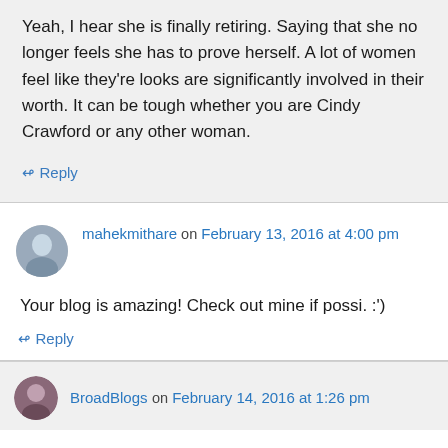Yeah, I hear she is finally retiring. Saying that she no longer feels she has to prove herself. A lot of women feel like they’re looks are significantly involved in their worth. It can be tough whether you are Cindy Crawford or any other woman.
↵ Reply
mahekmithare on February 13, 2016 at 4:00 pm
Your blog is amazing! Check out mine if possi. :')
↵ Reply
BroadBlogs on February 14, 2016 at 1:26 pm